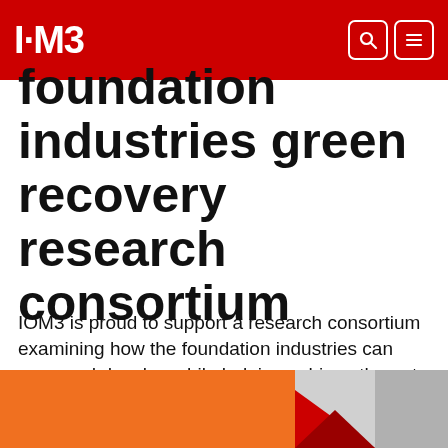I·M3
foundation industries green recovery research consortium
IOM3 is proud to support a research consortium examining how the foundation industries can grow and develop while helping achieve the net zero 2050 environmental targets.
[Figure (illustration): Bottom decorative image strip: orange background on the left, and a geometric graphic with red, grey, and yellow triangular shapes on the right]